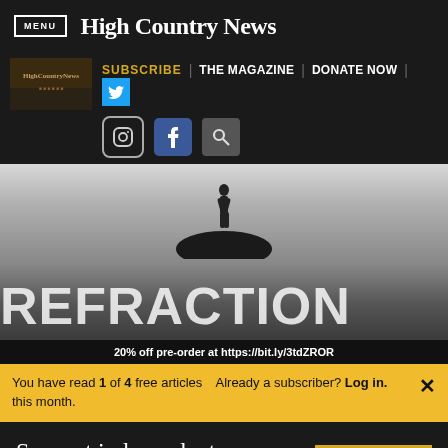MENU | High Country News
[Figure (screenshot): High Country News website navigation bar with logo, Subscribe, The Magazine, Donate Now links, Twitter, Instagram, Facebook, and search icons]
[Figure (photo): REFRACTION book cover ad — black and white photo of person standing on rock with ocean, large REFRACTION text overlay, '20% off pre-order at https://bit.ly/3tdZROR']
You have read 1 of 4 free articles this month.
Already a subscriber? Log in.
Support independent journalism.
Subscribe